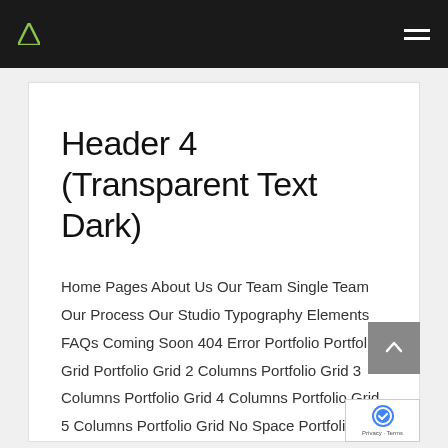Header 4 (Transparent Text Dark) — navigation bar
Header 4 (Transparent Text Dark)
Home Pages About Us Our Team Single Team Our Process Our Studio Typography Elements FAQs Coming Soon 404 Error Portfolio Portfolio Grid Portfolio Grid 2 Columns Portfolio Grid 3 Columns Portfolio Grid 4 Columns Portfolio Grid 5 Columns Portfolio Grid No Space Portfolio Grid No Space 2 Columns Portfolio Grid No Space 3 Columns Portfolio […]